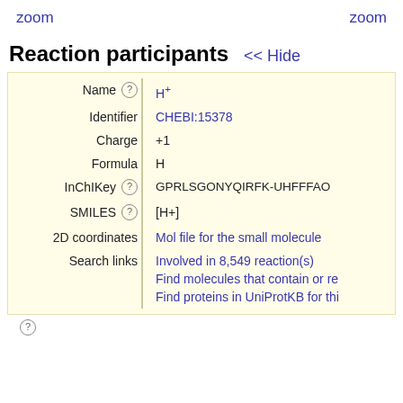zoom   zoom
Reaction participants << Hide
| Field | Value |
| --- | --- |
| Name | H+ |
| Identifier | CHEBI:15378 |
| Charge | +1 |
| Formula | H |
| InChIKey | GPRLSGONYQIRFK-UHFFFAO |
| SMILES | [H+] |
| 2D coordinates | Mol file for the small molecule |
| Search links | Involved in 8,549 reaction(s)
Find molecules that contain or re
Find proteins in UniProtKB for thi |